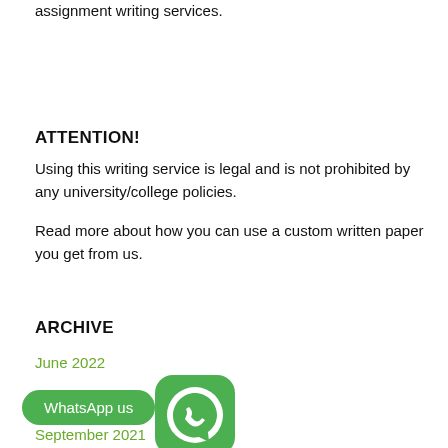assignment writing services.
ATTENTION!
Using this writing service is legal and is not prohibited by any university/college policies.
Read more about how you can use a custom written paper you get from us.
ARCHIVE
June 2022
WhatsApp us
[Figure (logo): WhatsApp logo icon — green rounded square with white phone handset icon]
September 2021